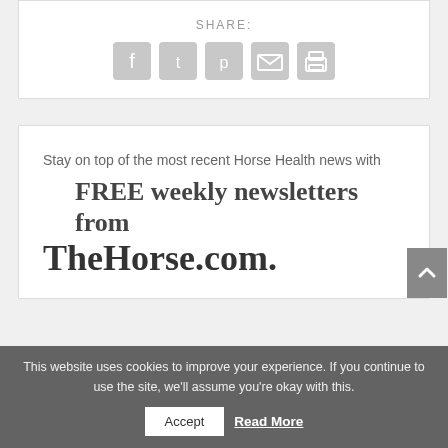SHARE:
[Figure (infographic): Social share icons: Facebook, Twitter, Pinterest, Email, Print — grey rounded squares]
Stay on top of the most recent Horse Health news with FREE weekly newsletters from TheHorse.com.
This website uses cookies to improve your experience. If you continue to use the site, we'll assume you're okay with this.
Accept
Read More